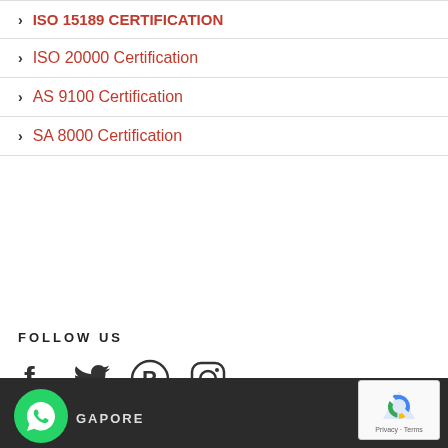ISO 15189 CERTIFICATION
ISO 20000 Certification
AS 9100 Certification
SA 8000 Certification
FOLLOW US
[Figure (illustration): Social media icons: Facebook, Twitter, Pinterest, Instagram]
GAPORE
[Figure (logo): WhatsApp logo icon in green]
[Figure (logo): reCAPTCHA widget with Privacy and Terms links]